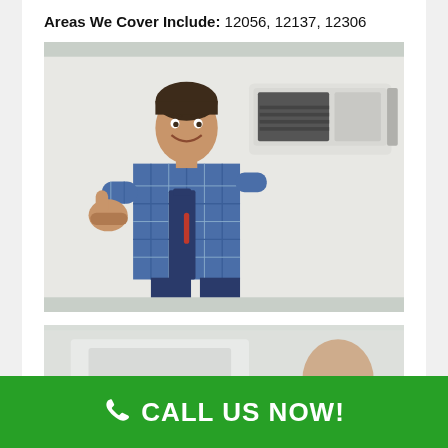Areas We Cover Include: 12056, 12137, 12306
[Figure (photo): HVAC technician in blue plaid shirt and overalls giving thumbs up next to a wall-mounted mini-split air conditioning unit]
[Figure (photo): Partial view of a second HVAC-related photo, partially visible at bottom]
CALL US NOW!